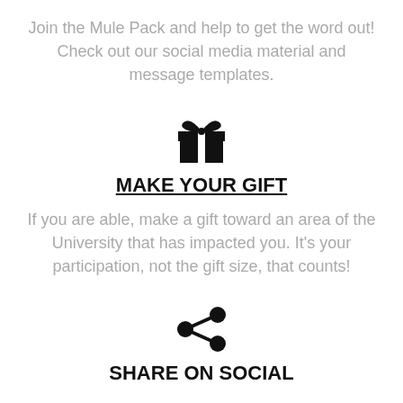Join the Mule Pack and help to get the word out! Check out our social media material and message templates.
[Figure (illustration): Gift box icon in black]
MAKE YOUR GIFT
If you are able, make a gift toward an area of the University that has impacted you. It's your participation, not the gift size, that counts!
[Figure (illustration): Share/social network icon in black]
SHARE ON SOCIAL